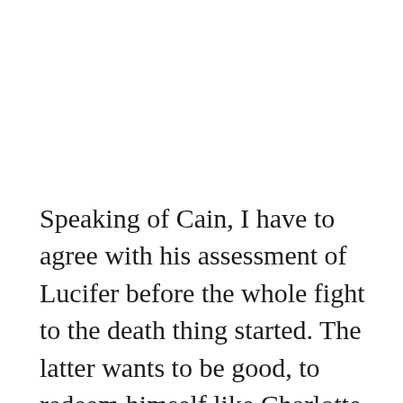Speaking of Cain, I have to agree with his assessment of Lucifer before the whole fight to the death thing started. The latter wants to be good, to redeem himself like Charlotte was doing. Perhaps that is why he got his wings back and his Devil face taken away. He was redeemed until he killed Pierce/Cain with a hell-forged blade and made himself into a monster again. On a side note,